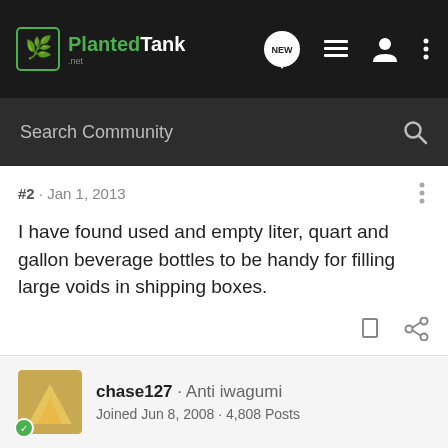PlantedTank forum navigation bar with logo, NEW button, list icon, user icon, three-dots menu
Search Community
#2 · Jan 1, 2013
I have found used and empty liter, quart and gallon beverage bottles to be handy for filling large voids in shipping boxes.
chase127 · Anti iwagumi
Joined Jun 8, 2008 · 4,808 Posts
#3 · Jan 1, 2013